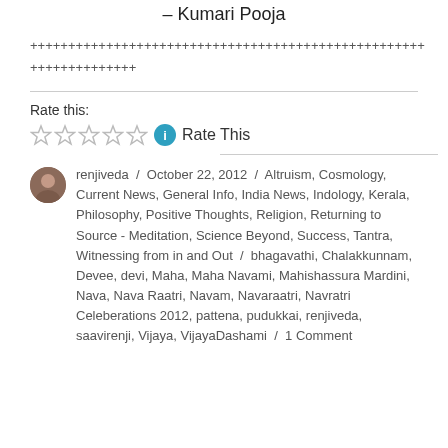– Kumari Pooja
++++++++++++++++++++++++++++++++++++++++++++++++++++++++++++++++
Rate this:
★★★★★ ℹ Rate This
renjiveda / October 22, 2012 / Altruism, Cosmology, Current News, General Info, India News, Indology, Kerala, Philosophy, Positive Thoughts, Religion, Returning to Source - Meditation, Science Beyond, Success, Tantra, Witnessing from in and Out / bhagavathi, Chalakkunnam, Devee, devi, Maha, Maha Navami, Mahishassura Mardini, Nava, Nava Raatri, Navam, Navaraatri, Navratri Celeberations 2012, pattena, pudukkai, renjiveda, saavirenji, Vijaya, VijayaDashami / 1 Comment